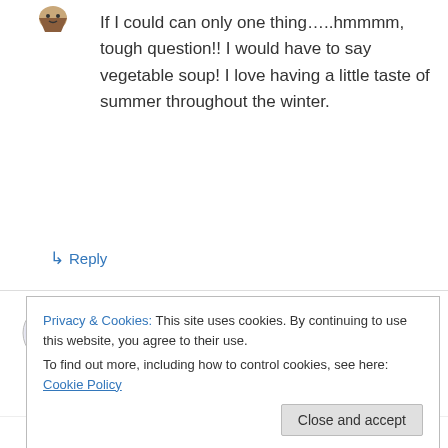If I could can only one thing…..hmmmm, tough question!! I would have to say vegetable soup! I love having a little taste of summer throughout the winter.
↳ Reply
Erica on 17 June 2012 at 3:52 pm
dill pickles
Privacy & Cookies: This site uses cookies. By continuing to use this website, you agree to their use.
To find out more, including how to control cookies, see here: Cookie Policy
Close and accept
to say, uhhh, hmmmm, raspberry jam. Or